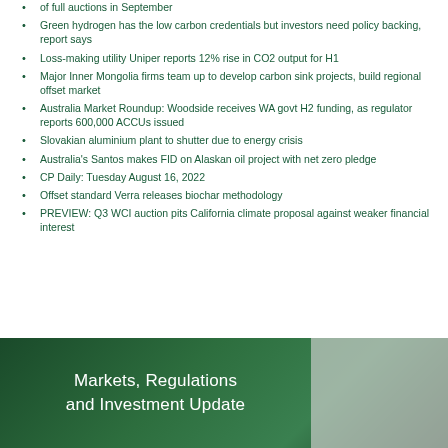of full auctions in September
Green hydrogen has the low carbon credentials but investors need policy backing, report says
Loss-making utility Uniper reports 12% rise in CO2 output for H1
Major Inner Mongolia firms team up to develop carbon sink projects, build regional offset market
Australia Market Roundup: Woodside receives WA govt H2 funding, as regulator reports 600,000 ACCUs issued
Slovakian aluminium plant to shutter due to energy crisis
Australia's Santos makes FID on Alaskan oil project with net zero pledge
CP Daily: Tuesday August 16, 2022
Offset standard Verra releases biochar methodology
PREVIEW: Q3 WCI auction pits California climate proposal against weaker financial interest
[Figure (illustration): Markets, Regulations and Investment Update banner with dark green gradient background and white text]